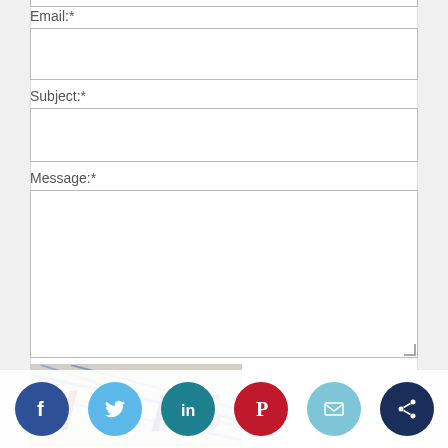Email:*
[Figure (other): Empty email input field]
Subject:*
[Figure (other): Empty subject input field]
Message:*
[Figure (other): Empty message textarea]
[Figure (other): CAPTCHA image showing V8X5 in purple/red on noisy blue-diagonal background, with refresh icon]
APTCA Code
[Figure (other): Social sharing bar with Facebook, Twitter, LinkedIn, Pinterest, Email, and share icons]